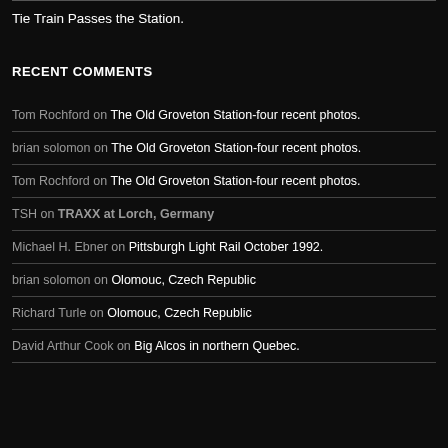Tie Train Passes the Station.
RECENT COMMENTS
Tom Rochford on The Old Groveton Station-four recent photos.
brian solomon on The Old Groveton Station-four recent photos.
Tom Rochford on The Old Groveton Station-four recent photos.
TSH on TRAXX at Lorch, Germany
Michael H. Ebner on Pittsburgh Light Rail October 1992.
brian solomon on Olomouc, Czech Republic
Richard Turle on Olomouc, Czech Republic
David Arthur Cook on Big Alcos in northern Quebec.